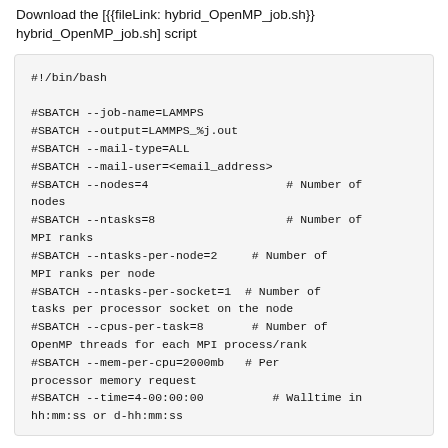Download the [{{fileLink: hybrid_OpenMP_job.sh}} hybrid_OpenMP_job.sh] script
#!/bin/bash

#SBATCH --job-name=LAMMPS
#SBATCH --output=LAMMPS_%j.out
#SBATCH --mail-type=ALL
#SBATCH --mail-user=<email_address>
#SBATCH --nodes=4                    # Number of nodes
#SBATCH --ntasks=8                   # Number of MPI ranks
#SBATCH --ntasks-per-node=2     # Number of MPI ranks per node
#SBATCH --ntasks-per-socket=1  # Number of tasks per processor socket on the node
#SBATCH --cpus-per-task=8        # Number of OpenMP threads for each MPI process/rank
#SBATCH --mem-per-cpu=2000mb    # Per processor memory request
#SBATCH --time=4-00:00:00           # Walltime in hh:mm:ss or d-hh:mm:ss